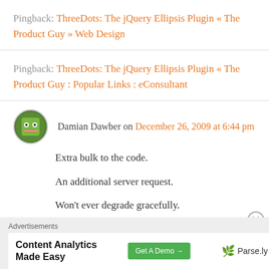Pingback: ThreeDots: The jQuery Ellipsis Plugin « The Product Guy » Web Design
Pingback: ThreeDots: The jQuery Ellipsis Plugin « The Product Guy : Popular Links : eConsultant
Damian Dawber on December 26, 2009 at 6:44 pm
Extra bulk to the code.
An additional server request.
Won't ever degrade gracefully.
Advertisements
[Figure (other): Advertisement banner: Content Analytics Made Easy with Get A Demo button and Parse.ly logo]